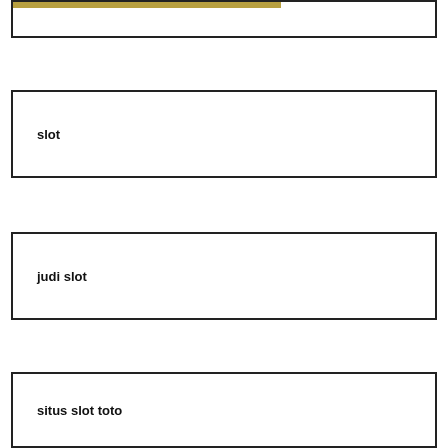[Figure (other): Top box with gold/olive colored bar at top left]
slot
judi slot
situs slot toto